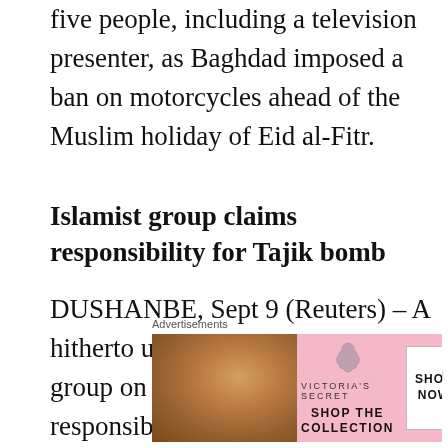five people, including a television presenter, as Baghdad imposed a ban on motorcycles ahead of the Muslim holiday of Eid al-Fitr.
Islamist group claims responsibility for Tajik bomb
DUSHANBE, Sept 9 (Reuters) – A hitherto unknown Islamist militant group on Thursday claimed responsibility for a suicide car bombing in Tajikistan last week which killed two officers at a police station in the north of the Central Asian republic.
Advertisements
[Figure (photo): Victoria's Secret advertisement banner with a model and 'SHOP THE COLLECTION / SHOP NOW' text]